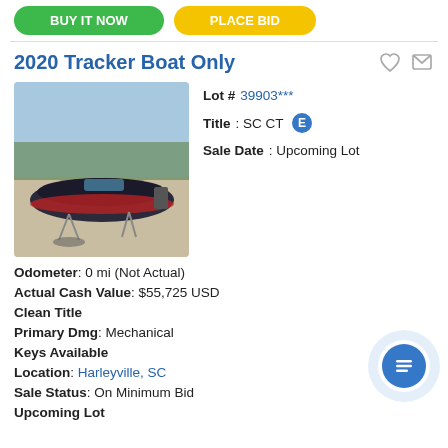2020 Tracker Boat Only
[Figure (photo): Photo of a 2020 Tracker bass boat parked outdoors in a gravel/dirt lot with other vehicles in background.]
Lot # 39903***
Title: SC CT E
Sale Date: Upcoming Lot
Odometer: 0 mi (Not Actual)
Actual Cash Value: $55,725 USD
Clean Title
Primary Dmg: Mechanical
Keys Available
Location: Harleyville, SC
Sale Status: On Minimum Bid
Upcoming Lot